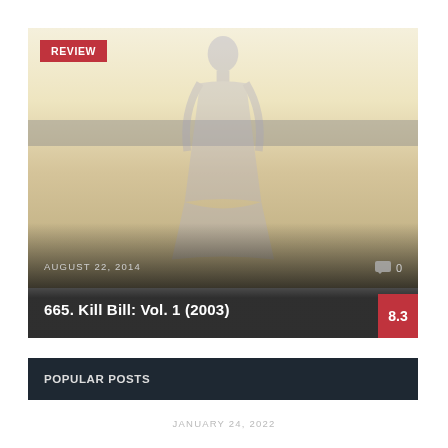[Figure (photo): Movie review card with faded figure silhouette for Kill Bill Vol. 1 (2003), with a cream/tan gradient background and a grey horizontal band. Shows date AUGUST 22, 2014 and comment count 0, with a rating of 8.3 in a red box.]
REVIEW
AUGUST 22, 2014
0
665. Kill Bill: Vol. 1 (2003)
8.3
POPULAR POSTS
JANUARY 24, 2022